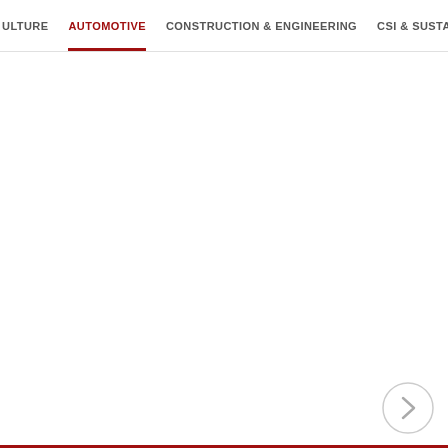ULTURE  AUTOMOTIVE  CONSTRUCTION & ENGINEERING  CSI & SUSTAIN
[Figure (other): Navigation arrow button (right chevron) in a light grey circle, positioned bottom-right of the page]